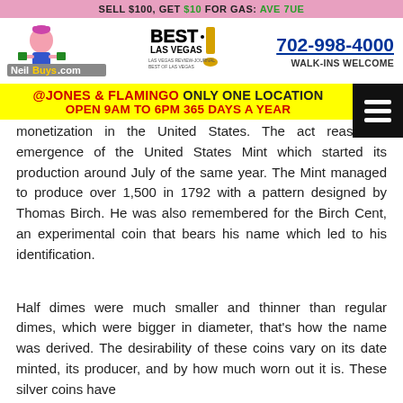SELL $100, GET $10 FOR GAS: AVE 7UE
[Figure (logo): NeilBuys.com logo with character holding money]
[Figure (logo): Best of Las Vegas award logo]
702-998-4000  WALK-INS WELCOME
@JONES & FLAMINGO ONLY ONE LOCATION OPEN 9AM TO 6PM 365 DAYS A YEAR
monetization in the United States. The act reas... the emergence of the United States Mint which started its production around July of the same year. The Mint managed to produce over 1,500 in 1792 with a pattern designed by Thomas Birch. He was also remembered for the Birch Cent, an experimental coin that bears his name which led to his identification.
Half dimes were much smaller and thinner than regular dimes, which were bigger in diameter, that's how the name was derived. The desirability of these coins vary on its date minted, its producer, and by how much worn out it is. These silver coins have